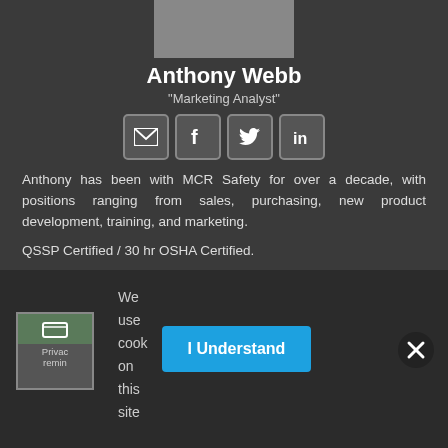[Figure (photo): Partial photo of a man in gray jacket, cropped at top]
Anthony Webb
"Marketing Analyst"
[Figure (infographic): Row of four social media icon buttons: email, Facebook, Twitter, LinkedIn]
Anthony has been with MCR Safety for over a decade, with positions ranging from sales, purchasing, new product development, training, and marketing.
QSSP Certified / 30 hr OSHA Certified.
We use cook on this site
[Figure (logo): Privacy reminder logo box with green background and text]
I Understand
[Figure (infographic): Close/X button circle]